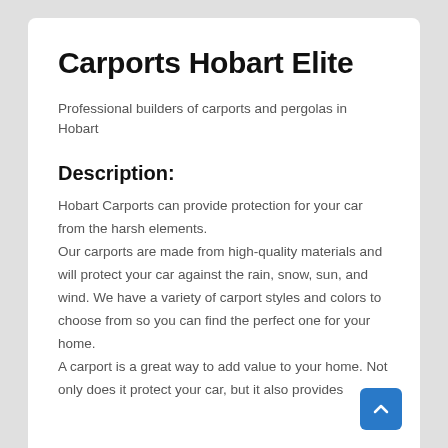Carports Hobart Elite
Professional builders of carports and pergolas in Hobart
Description:
Hobart Carports can provide protection for your car from the harsh elements.
Our carports are made from high-quality materials and will protect your car against the rain, snow, sun, and wind. We have a variety of carport styles and colors to choose from so you can find the perfect one for your home.
A carport is a great way to add value to your home. Not only does it protect your car, but it also provides